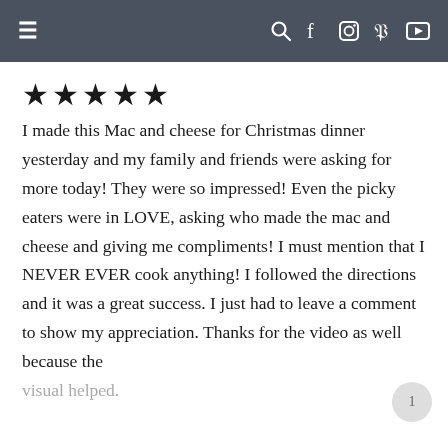≡  🔍 f 📷 𝗣 ▶
★★★★★
I made this Mac and cheese for Christmas dinner yesterday and my family and friends were asking for more today! They were so impressed! Even the picky eaters were in LOVE, asking who made the mac and cheese and giving me compliments! I must mention that I NEVER EVER cook anything! I followed the directions and it was a great success. I just had to leave a comment to show my appreciation. Thanks for the video as well because the visual helped.